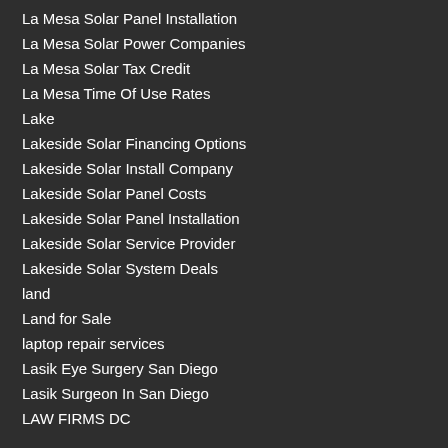La Mesa Solar Panel Installation
La Mesa Solar Power Companies
La Mesa Solar Tax Credit
La Mesa Time Of Use Rates
Lake
Lakeside Solar Financing Options
Lakeside Solar Install Company
Lakeside Solar Panel Costs
Lakeside Solar Panel Installation
Lakeside Solar Service Provider
Lakeside Solar System Deals
land
Land for Sale
laptop repair services
Lasik Eye Surgery San Diego
Lasik Surgeon In San Diego
LAW FIRMS DC